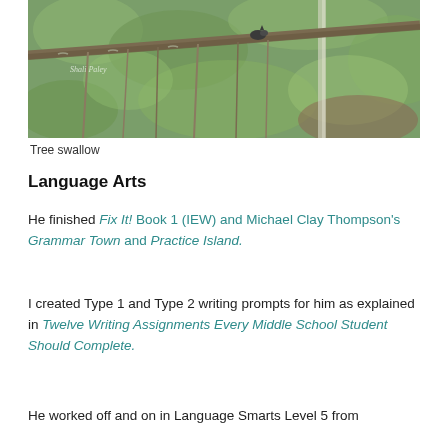[Figure (photo): Close-up photograph of tree branches with a bird (tree swallow) perched on a branch, blurred green foliage background. Watermark text 'Shali Paley' visible in lower left of image.]
Tree swallow
Language Arts
He finished Fix It! Book 1 (IEW) and Michael Clay Thompson's Grammar Town and Practice Island.
I created Type 1 and Type 2 writing prompts for him as explained in Twelve Writing Assignments Every Middle School Student Should Complete.
He worked off and on in Language Smarts Level 5 from...